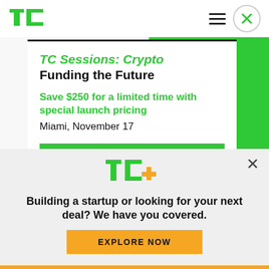TC (TechCrunch logo) | hamburger menu | close button
[Figure (screenshot): TechCrunch TC Sessions: Crypto ad card with green accent bar on right. Title: 'TC Sessions: Crypto Funding the Future'. Promo: 'Save $250 for a limited time with special launch pricing'. Location: 'Miami, November 17'. Button: 'Book Now'.]
TC Sessions: Crypto
Funding the Future
Save $250 for a limited time with special launch pricing
Miami, November 17
Book Now
[Figure (logo): TC+ logo in green with orange plus sign]
Building a startup or looking for your next deal? We have you covered.
EXPLORE NOW